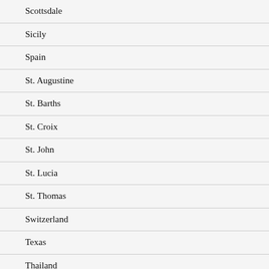Scottsdale
Sicily
Spain
St. Augustine
St. Barths
St. Croix
St. John
St. Lucia
St. Thomas
Switzerland
Texas
Thailand
Trinidad